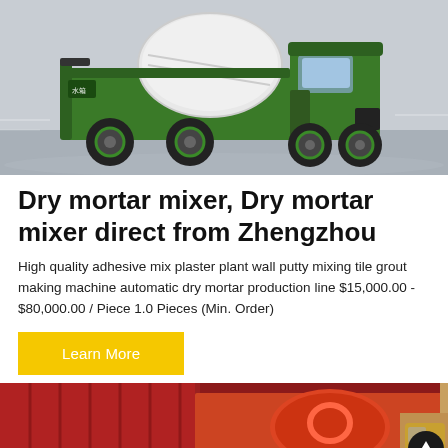[Figure (photo): Green self-loading concrete mixer truck on a road, side/front view, with white drum and green body.]
Dry mortar mixer, Dry mortar mixer direct from Zhengzhou
High quality adhesive mix plaster plant wall putty mixing tile grout making machine automatic dry mortar production line $15,000.00 - $80,000.00 / Piece 1.0 Pieces (Min. Order)
Learn More
[Figure (photo): Industrial machinery including red equipment, a drum mixer, and construction vehicles in an outdoor setting.]